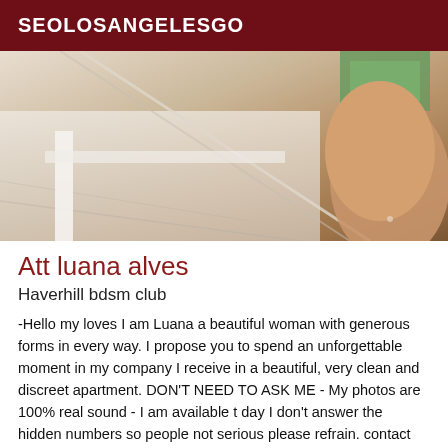SEOLOSANGELESGO
[Figure (photo): Close-up photo with warm skin tones and light background, partially cropped]
Att luana alves
Haverhill bdsm club
-Hello my loves I am Luana a beautiful woman with generous forms in every way. I propose you to spend an unforgettable moment in my company I receive in a beautiful, very clean and discreet apartment. DON'T NEED TO ASK ME - My photos are 100% real sound - I am available t day I don't answer the hidden numbers so people not serious please refrain. contact me quickly thank you. I reserve the right to refuse a customer if it is